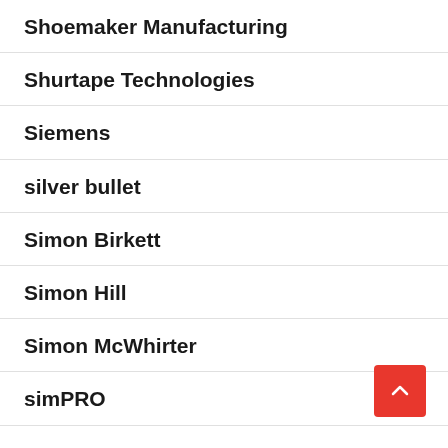Shoemaker Manufacturing
Shurtape Technologies
Siemens
silver bullet
Simon Birkett
Simon Hill
Simon McWhirter
simPRO